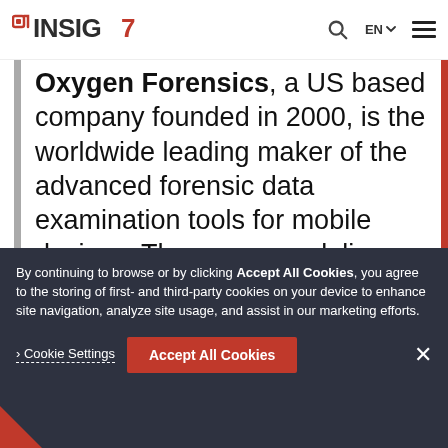INSIG7 logo with navigation: search icon, EN language selector, hamburger menu
Oxygen Forensics, a US based company founded in 2000, is the worldwide leading maker of the advanced forensic data examination tools for mobile devices. The company delivers Oxygen Forensic Suite, a universal
By continuing to browse or by clicking Accept All Cookies, you agree to the storing of first- and third-party cookies on your device to enhance site navigation, analyze site usage, and assist in our marketing efforts.
Cookie Settings | Accept All Cookies | ×